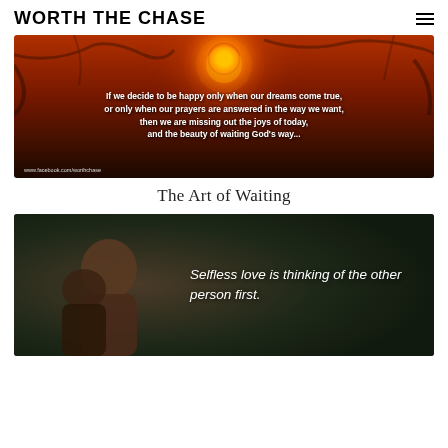WORTH THE CHASE
[Figure (photo): Sunset image with silhouetted tree branches against an orange-red sky with a glowing sun. White bold text overlay reads: 'If we decide to be happy only when our dreams come true, or only when our prayers are answered in the way we want, then we are missing out the joys of today, and the beauty of waiting God's way...' Footer text: www.facebook.com/worthchase]
The Art of Waiting
[Figure (photo): Photo of a couple embracing, man with short hair smiling with a woman. Dark green blurred background. White italic text overlay reads: 'Selfless love is thinking of the other person first.']